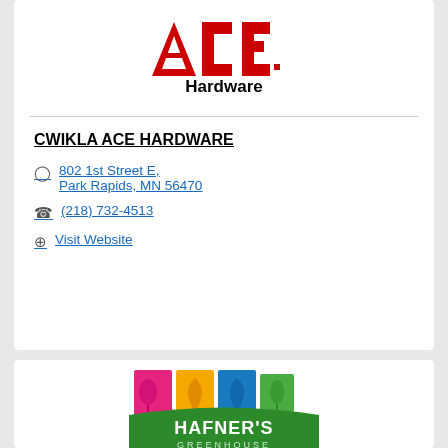[Figure (logo): ACE Hardware logo - red triangular ACE letters with 'Hardware' in bold black text below]
CWIKLA ACE HARDWARE
802 1st Street E, Park Rapids, MN 56470
(218) 732-4513
Visit Website
[Figure (logo): Hafner's Greenhouse logo - colorful panels with plant silhouettes and green arch banner with white text]